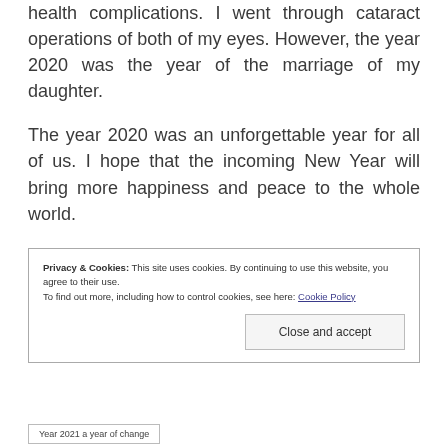health complications. I went through cataract operations of both of my eyes. However, the year 2020 was the year of the marriage of my daughter.

The year 2020 was an unforgettable year for all of us. I hope that the incoming New Year will bring more happiness and peace to the whole world.
Privacy & Cookies: This site uses cookies. By continuing to use this website, you agree to their use.
To find out more, including how to control cookies, see here: Cookie Policy
Close and accept
Year 2021 a year of change